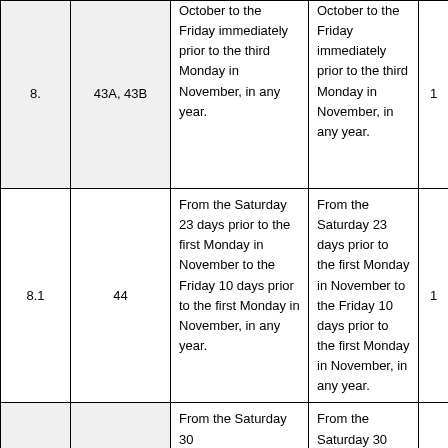|  |  |  |  |  |
| --- | --- | --- | --- | --- |
| 8. | 43A, 43B | October to the Friday immediately prior to the third Monday in November, in any year. | October to the Friday immediately prior to the third Monday in November, in any year. | 1 |
| 8.1 | 44 | From the Saturday 23 days prior to the first Monday in November to the Friday 10 days prior to the first Monday in November, in any year. | From the Saturday 23 days prior to the first Monday in November to the Friday 10 days prior to the first Monday in November, in any year. | 1 |
|  |  | From the Saturday 30 | From the Saturday 30 |  |